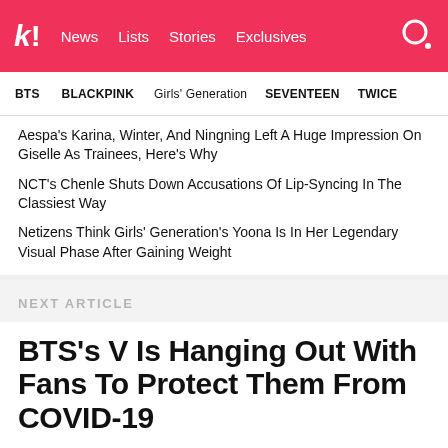k! News Lists Stories Exclusives
BTS  BLACKPINK  Girls' Generation  SEVENTEEN  TWICE
Aespa's Karina, Winter, And Ningning Left A Huge Impression On Giselle As Trainees, Here's Why
NCT's Chenle Shuts Down Accusations Of Lip-Syncing In The Classiest Way
Netizens Think Girls' Generation's Yoona Is In Her Legendary Visual Phase After Gaining Weight
NEXT ARTICLE
BTS's V Is Hanging Out With Fans To Protect Them From COVID-19